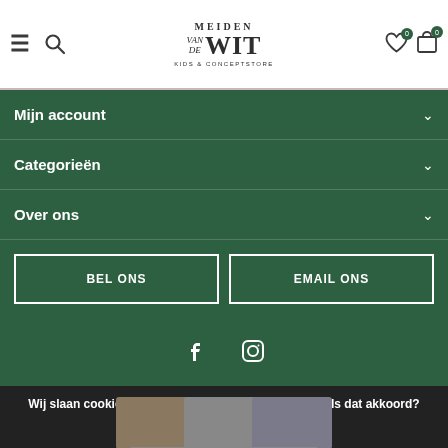[Figure (logo): Meiden van de Wit Kids & Conceptstore logo with hamburger menu and search icon on left, heart and bag icons on right]
Mijn account
Categorieën
Over ons
BEL ONS
EMAIL ONS
[Figure (illustration): Facebook and Instagram social media icons in white on dark green background]
Wij slaan cookies op om onze website te verbeteren. Is dat akkoord?
Ja
Nee
© Copyright 2022 - Theme By DMWS x Plus+ - RSS-feed
Meer over cookies »